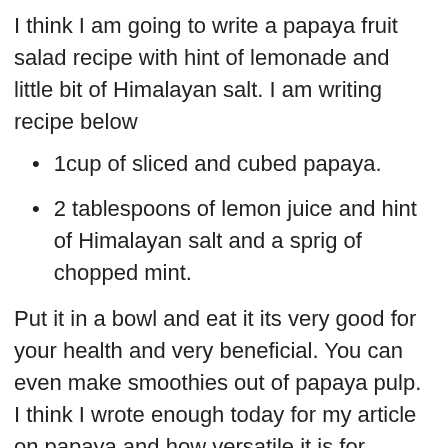I think I am going to write a papaya fruit salad recipe with hint of lemonade and little bit of Himalayan salt. I am writing recipe below
1cup of sliced and cubed papaya.
2 tablespoons of lemon juice and hint of Himalayan salt and a sprig of chopped mint.
Put it in a bowl and eat it its very good for your health and very beneficial. You can even make smoothies out of papaya pulp. I think I wrote enough today for my article on papaya and how versatile it is for health and always do a good presentation that is very important for serving. I will see you guys tomorrow and will figure out what can I publish in my next article until then goodbye.